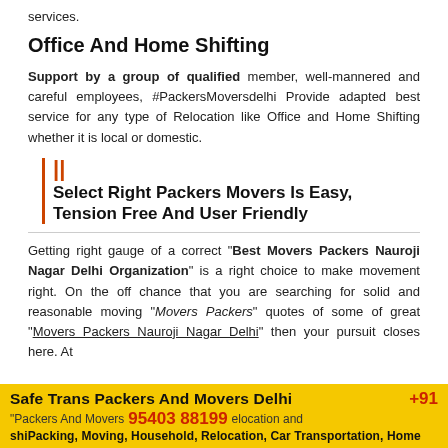services.
Office And Home Shifting
Support by a group of qualified member, well-mannered and careful employees, #PackersMoversdelhi Provide adapted best service for any type of Relocation like Office and Home Shifting whether it is local or domestic.
Select Right Packers Movers Is Easy, Tension Free And User Friendly
Getting right gauge of a correct "Best Movers Packers Nauroji Nagar Delhi Organization" is a right choice to make movement right. On the off chance that you are searching for solid and reasonable moving "Movers Packers" quotes of some of great "Movers Packers Nauroji Nagar Delhi" then your pursuit closes here. At
Safe Trans Packers And Movers Delhi +91 95403 88199 Packing, Moving, Household, Relocation, Car Transportation, Home